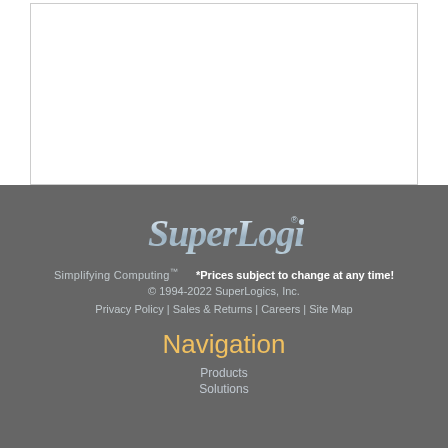[Figure (logo): SuperLogics logo — stylized italic script text with metallic silver/blue gradient effect and registered trademark symbol]
Simplifying Computing™
*Prices subject to change at any time!
© 1994-2022 SuperLogics, Inc.
Privacy Policy | Sales & Returns | Careers | Site Map
Navigation
Products
Solutions